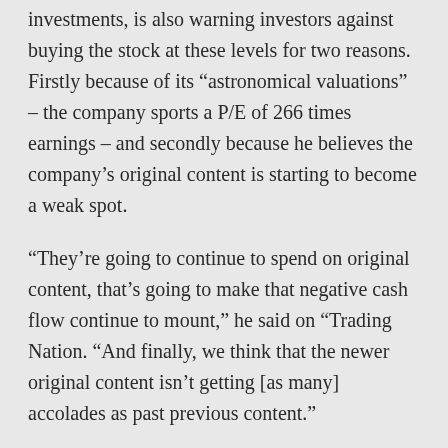investments, is also warning investors against buying the stock at these levels for two reasons. Firstly because of its “astronomical valuations” – the company sports a P/E of 266 times earnings – and secondly because he believes the company’s original content is starting to become a weak spot.
“They’re going to continue to spend on original content, that’s going to make that negative cash flow continue to mount,” he said on “Trading Nation. “And finally, we think that the newer original content isn’t getting [as many] accolades as past previous content.”